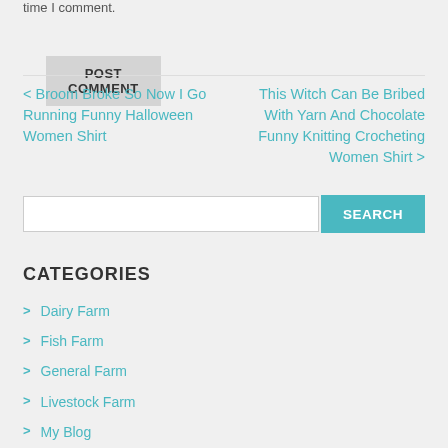time I comment.
POST COMMENT
< Broom Broke So Now I Go Running Funny Halloween Women Shirt
This Witch Can Be Bribed With Yarn And Chocolate Funny Knitting Crocheting Women Shirt >
CATEGORIES
Dairy Farm
Fish Farm
General Farm
Livestock Farm
My Blog
Poultry Farm